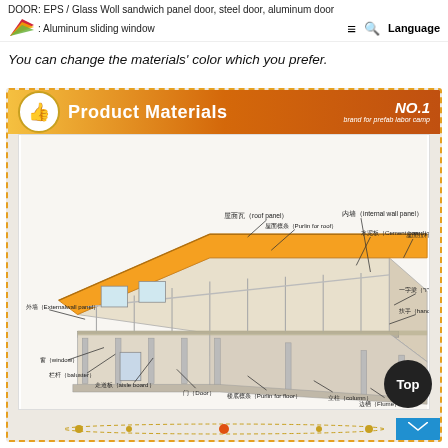DOOR: EPS / Glass Wall sandwich panel door, steel door, aluminum door
WI: Aluminum sliding window
You can change the materials' color which you prefer.
[Figure (engineering-diagram): Prefab labor camp building diagram with labeled components: 屋面瓦 (roof panel), 内墙 (internal wall panel), 外墙 (Externalwall panel), 屋面檩条 (Purlin for roof), 水泥板 (Cement board), 屋面拉杆 (Pull Rod), 一字梁 (I-shape beam), 扶手 (handrail), 窗 (window), 栏杆 (baluster), 走道板 (aisle board), 门 (Door), 楼底檩条 (Purlin for floor), 立柱 (column), 边槽 (Flume). Banner: Product Materials, NO.1 brand for prefab labor camp.]